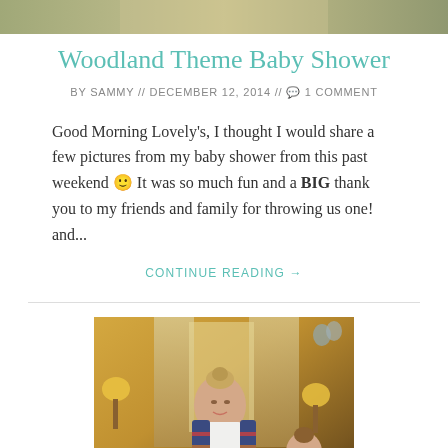[Figure (photo): Top partial image of woodland/nature theme, cropped at top of page]
Woodland Theme Baby Shower
BY SAMMY // DECEMBER 12, 2014 // 💬 1 COMMENT
Good Morning Lovely's, I thought I would share a few pictures from my baby shower from this past weekend 🙂 It was so much fun and a BIG thank you to my friends and family for throwing us one! and...
CONTINUE READING →
[Figure (photo): Photo of a pregnant woman with friends at a baby shower in an ornate room with lamps and curtains]